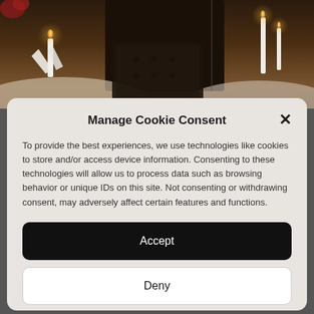[Figure (photo): Background photo of an elegant restaurant dining setting with candles, white table linens, and dark upholstered chairs in dim lighting]
Manage Cookie Consent
To provide the best experiences, we use technologies like cookies to store and/or access device information. Consenting to these technologies will allow us to process data such as browsing behavior or unique IDs on this site. Not consenting or withdrawing consent, may adversely affect certain features and functions.
Accept
Deny
View preferences
Cookie Policy   Privacy Policy